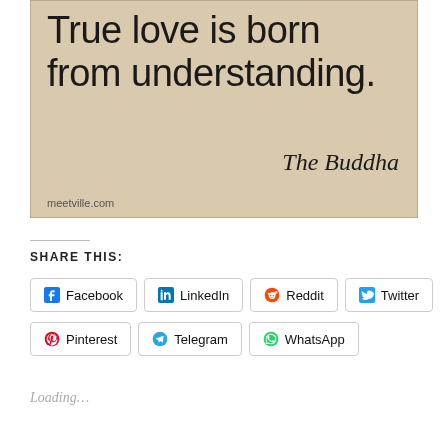[Figure (illustration): Aged beige/tan paper background with large sans-serif quote text: 'True love is born from understanding.' attributed to 'The Buddha' in italic serif. Bottom-left watermark reads 'meetville.com'.]
SHARE THIS:
Facebook  LinkedIn  Reddit  Twitter  Pinterest  Telegram  WhatsApp
Loading...